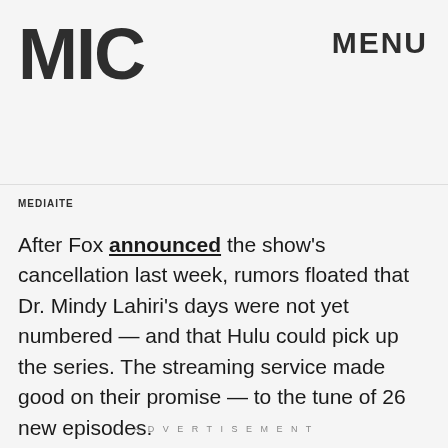MIC  MENU
MEDIAITE
After Fox announced the show's cancellation last week, rumors floated that Dr. Mindy Lahiri's days were not yet numbered — and that Hulu could pick up the series. The streaming service made good on their promise — to the tune of 26 new episodes.
ADVERTISEMENT